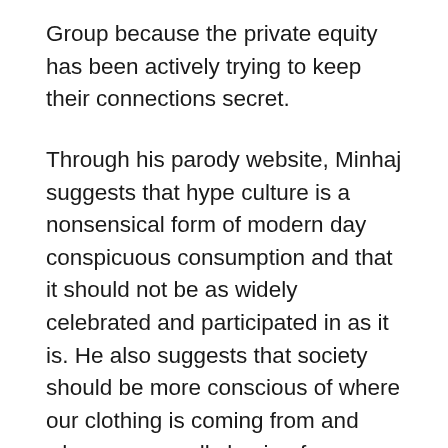Group because the private equity has been actively trying to keep their connections secret.
Through his parody website, Minhaj suggests that hype culture is a nonsensical form of modern day conspicuous consumption and that it should not be as widely celebrated and participated in as it is. He also suggests that society should be more conscious of where our clothing is coming from and who we are really buying from.
[Figure (other): A row of six social sharing icon buttons: email (grey), Twitter (cyan), Facebook (blue), WhatsApp (green), Pinterest (red), and print (grey).]